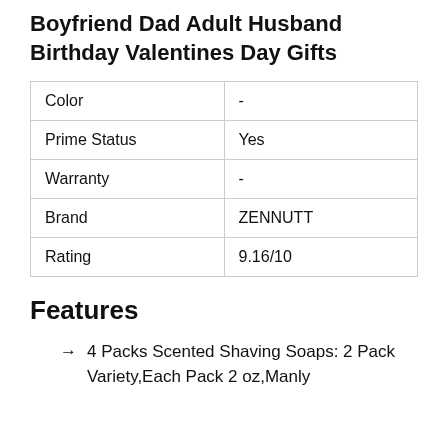Christmas Stocking Stuffers for Him Boyfriend Dad Adult Husband Birthday Valentines Day Gifts
| Attribute | Value |
| --- | --- |
| Color | - |
| Prime Status | Yes |
| Warranty | - |
| Brand | ZENNUTT |
| Rating | 9.16/10 |
Features
4 Packs Scented Shaving Soaps: 2 Pack Variety,Each Pack 2 oz,Manly